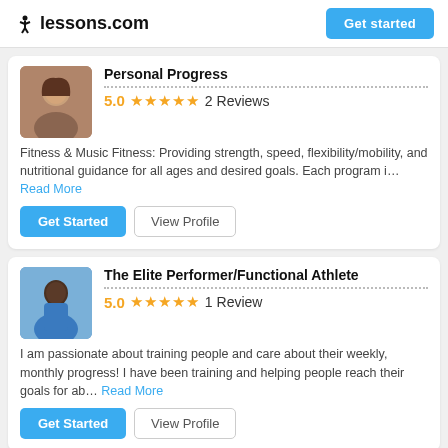lessons.com  Get started
Personal Progress
5.0  2 Reviews
Fitness & Music Fitness: Providing strength, speed, flexibility/mobility, and nutritional guidance for all ages and desired goals. Each program i... Read More
Get Started  View Profile
The Elite Performer/Functional Athlete
5.0  1 Review
I am passionate about training people and care about their weekly, monthly progress! I have been training and helping people reach their goals for ab... Read More
Get Started  View Profile